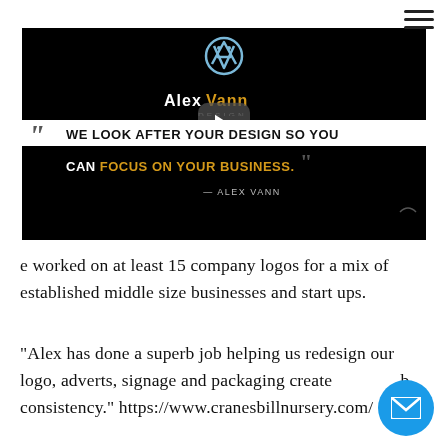[Figure (screenshot): Alex Vann Design video thumbnail with play button, logo, and quote: WE LOOK AFTER YOUR DESIGN SO YOU CAN FOCUS ON YOUR BUSINESS. — ALEX VANN]
e worked on at least 15 company logos for a mix of established middle size businesses and start ups.
"Alex has done a superb job helping us redesign our logo, adverts, signage and packaging create b consistency." https://www.cranesbillnursery.com/